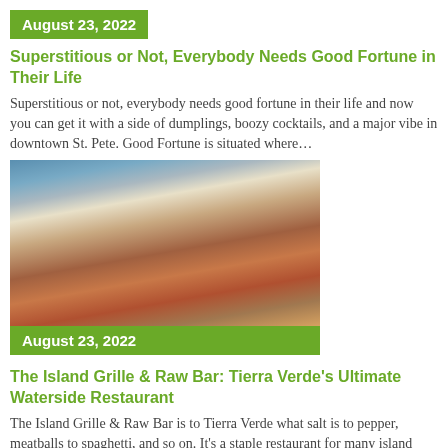August 23, 2022
Superstitious or Not, Everybody Needs Good Fortune in Their Life
Superstitious or not, everybody needs good fortune in their life and now you can get it with a side of dumplings, boozy cocktails, and a major vibe in downtown St. Pete. Good Fortune is situated where...
[Figure (photo): Food plate with sliced meat and garnish]
August 23, 2022
The Island Grille & Raw Bar: Tierra Verde's Ultimate Waterside Restaurant
The Island Grille & Raw Bar is to Tierra Verde what salt is to pepper, meatballs to spaghetti, and so on. It's a staple restaurant for many island residents and locals and I'm certain that it gets its fair share of beach traffic,...
[Figure (photo): Food dish partial view at bottom of page]